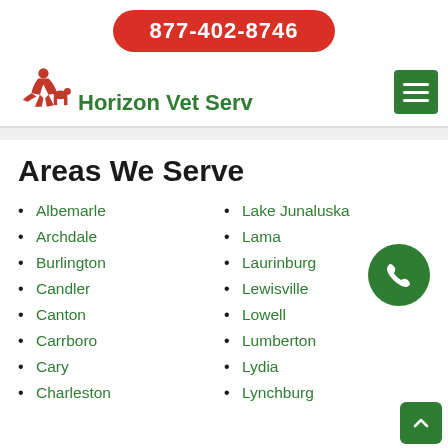877-402-8746
[Figure (logo): Horizon Vet Serv logo with red silhouette of person with animals and green text]
Areas We Serve
Albemarle
Archdale
Burlington
Candler
Canton
Carrboro
Cary
Charleston
Lake Junaluska
Lama
Laurinburg
Lewisville
Lowell
Lumberton
Lydia
Lynchburg